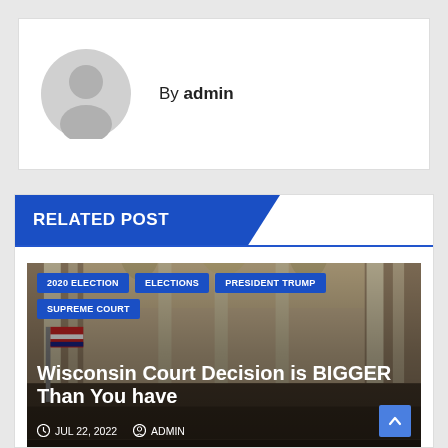By admin
RELATED POST
[Figure (photo): Interior of a courtroom or legislative chamber with neoclassical architecture, columns, murals, and American flags. Article tags overlay: 2020 ELECTION, ELECTIONS, PRESIDENT TRUMP, SUPREME COURT. Title text: Wisconsin Court Decision is BIGGER Than You have. Date: JUL 22, 2022, Author: ADMIN]
Wisconsin Court Decision is BIGGER Than You have
JUL 22, 2022   ADMIN